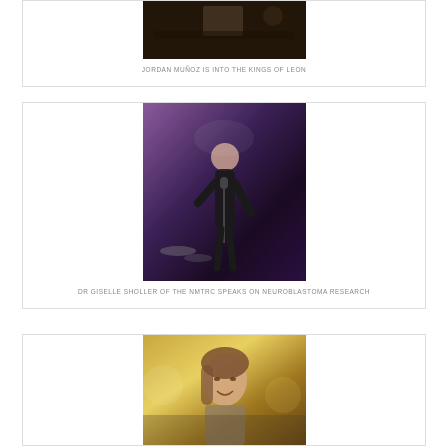[Figure (photo): Photo of a music performance, band on stage, dark concert setting]
JORDAN MUÑOZ IS INTO THE KINGS OF LEON
[Figure (photo): Photo of Dr Giselle Sholler speaking on stage at a microphone, wearing black, concert/event setting]
DR GISELLE SHOLLER OF THE NMTRC SPEAKS ON NEUROBLASTOMA RESEARCH
[Figure (photo): Photo of a woman with long brown hair smiling at an outdoor event]